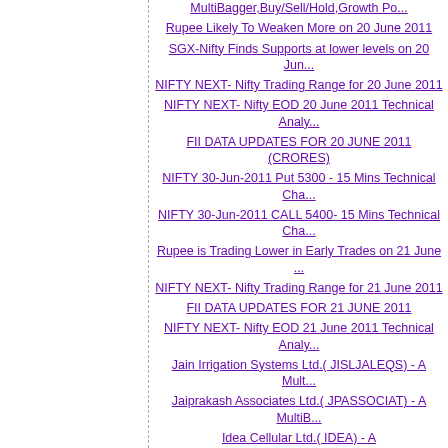MultiBagger,Buy/Sell/Hold,Growth Po...
Rupee Likely To Weaken More on 20 June 2011
SGX-Nifty Finds Supports at lower levels on 20 Jun...
NIFTY NEXT- Nifty Trading Range for 20 June 2011
NIFTY NEXT- Nifty EOD 20 June 2011 Technical Analy...
FII DATA UPDATES FOR 20 JUNE 2011 (CRORES)
NIFTY 30-Jun-2011 Put 5300 - 15 Mins Technical Cha...
NIFTY 30-Jun-2011 CALL 5400- 15 Mins Technical Cha...
Rupee is Trading Lower in Early Trades on 21 June ...
NIFTY NEXT- Nifty Trading Range for 21 June 2011
FII DATA UPDATES FOR 21 JUNE 2011
NIFTY NEXT- Nifty EOD 21 June 2011 Technical Analy...
Jain Irrigation Systems Ltd.( JISLJALEQS) - A Mult...
Jaiprakash Associates Ltd.( JPASSOCIAT) - A MultiB...
Idea Cellular Ltd.( IDEA) - A